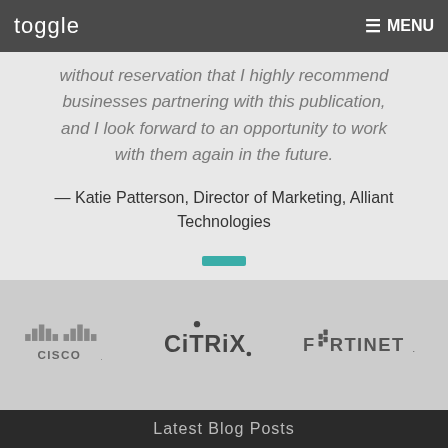toggle  ≡ MENU
without reservation that I highly recommend businesses partnering with this publication, and I look forward to an opportunity to work with them again in the future.
— Katie Patterson, Director of Marketing, Alliant Technologies
[Figure (other): Small teal horizontal rectangle/divider bar]
[Figure (logo): Cisco logo]
[Figure (logo): Citrix logo]
[Figure (logo): Fortinet logo]
Latest Blog Posts